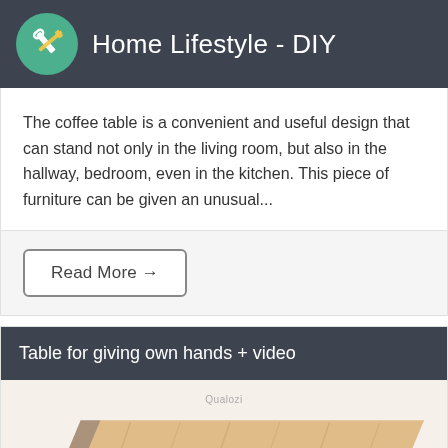Home Lifestyle - DIY
The coffee table is a convenient and useful design that can stand not only in the living room, but also in the hallway, bedroom, even in the kitchen. This piece of furniture can be given an unusual...
Read More →
Table for giving own hands + video
[Figure (photo): Photo of wooden planks/boards stacked together, showing wood grain texture]